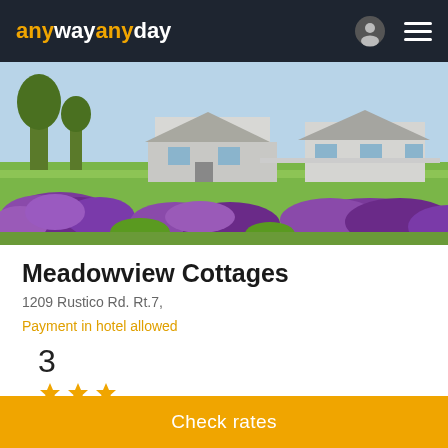anywayanyday
[Figure (photo): Exterior photo of Meadowview Cottages showing white cottage buildings with purple flowers in foreground and green lawn with trees]
Meadowview Cottages
1209 Rustico Rd. Rt.7,
Payment in hotel allowed
3 stars
Check rates